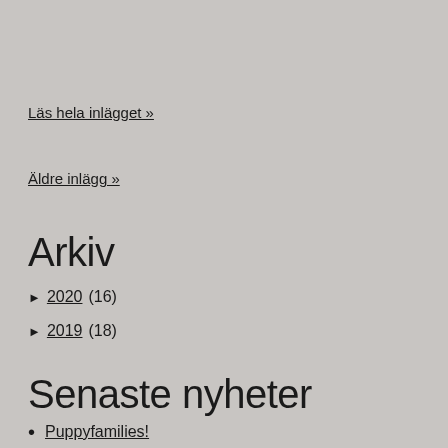Läs hela inlägget »
Äldre inlägg »
Arkiv
► 2020 (16)
► 2019 (18)
Senaste nyheter
• Puppyfamilies!
• 8 weeks individual photos!